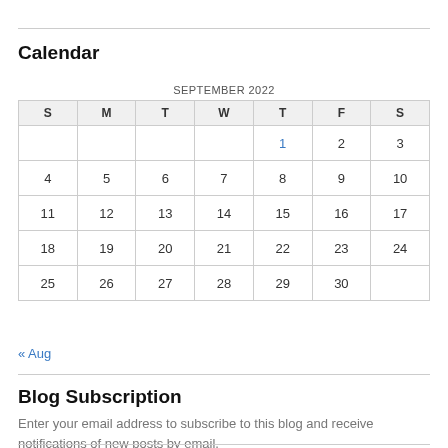Calendar
| S | M | T | W | T | F | S |
| --- | --- | --- | --- | --- | --- | --- |
|  |  |  |  | 1 | 2 | 3 |
| 4 | 5 | 6 | 7 | 8 | 9 | 10 |
| 11 | 12 | 13 | 14 | 15 | 16 | 17 |
| 18 | 19 | 20 | 21 | 22 | 23 | 24 |
| 25 | 26 | 27 | 28 | 29 | 30 |  |
« Aug
Blog Subscription
Enter your email address to subscribe to this blog and receive notifications of new posts by email.